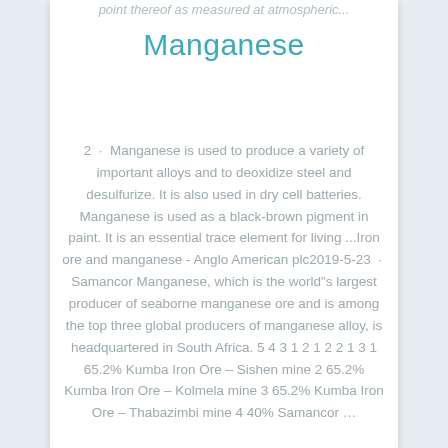point thereof as measured at atmospheric...
Manganese
2 · Manganese is used to produce a variety of important alloys and to deoxidize steel and desulfurize. It is also used in dry cell batteries. Manganese is used as a black-brown pigment in paint. It is an essential trace element for living ...Iron ore and manganese - Anglo American plc2019-5-23 · Samancor Manganese, which is the world"s largest producer of seaborne manganese ore and is among the top three global producers of manganese alloy, is headquartered in South Africa. 5 4 3 1 2 1 2 2 1 3 1 65.2% Kumba Iron Ore – Sishen mine 2 65.2% Kumba Iron Ore – Kolmela mine 3 65.2% Kumba Iron Ore – Thabazimbi mine 4 40% Samancor …